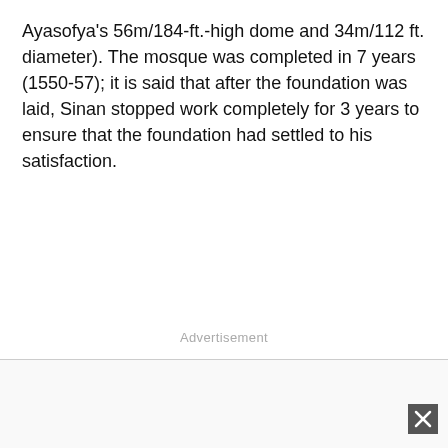Ayasofya's 56m/184-ft.-high dome and 34m/112 ft. diameter). The mosque was completed in 7 years (1550-57); it is said that after the foundation was laid, Sinan stopped work completely for 3 years to ensure that the foundation had settled to his satisfaction.
Advertisement
[Figure (other): Advertisement banner at the bottom of the page with a close (X) button in the bottom-right corner]